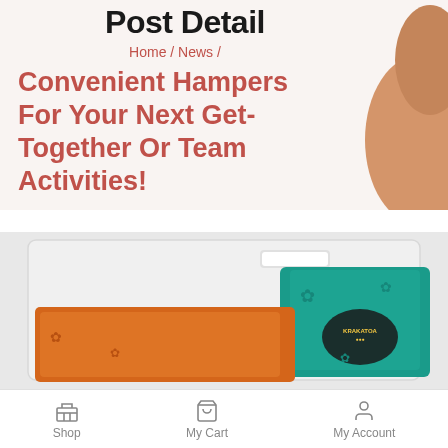Post Detail
Home / News /
Convenient Hampers For Your Next Get-Together Or Team Activities!
[Figure (photo): Photo of colorful gift hamper items including teal and orange wrapped packages in a white tray box, with a Krakatoa branded item visible]
Shop   My Cart   My Account